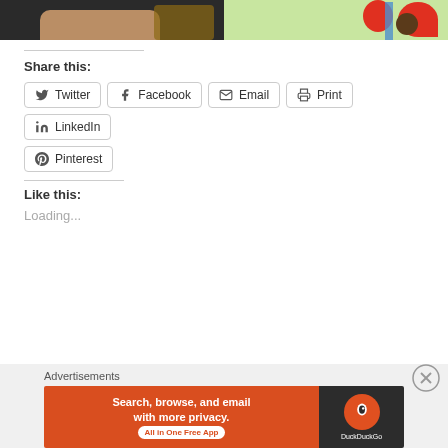[Figure (photo): Two images side by side at top: left shows a person's hand near a mouse on a dark desk, right shows a colorful children's illustration with red flowers and a child]
Share this:
Twitter
Facebook
Email
Print
LinkedIn
Pinterest
Like this:
Loading...
Advertisements
[Figure (screenshot): DuckDuckGo advertisement banner: orange left panel with 'Search, browse, and email with more privacy. All in One Free App' and dark right panel with DuckDuckGo logo]